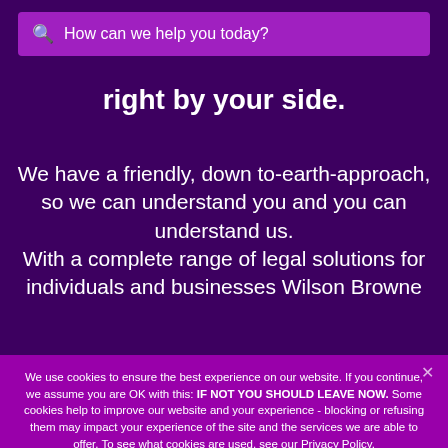[Figure (screenshot): Search bar with placeholder text 'How can we help you today?' on purple background]
right by your side.
We have a friendly, down to-earth-approach, so we can understand you and you can understand us. With a complete range of legal solutions for individuals and businesses Wilson Browne
We use cookies to ensure the best experience on our website. If you continue, we assume you are OK with this: IF NOT YOU SHOULD LEAVE NOW. Some cookies help to improve our website and your experience - blocking or refusing them may impact your experience of the site and the services we are able to offer. To see what cookies are used, see our Privacy Policy.
That's fine    Privacy policy